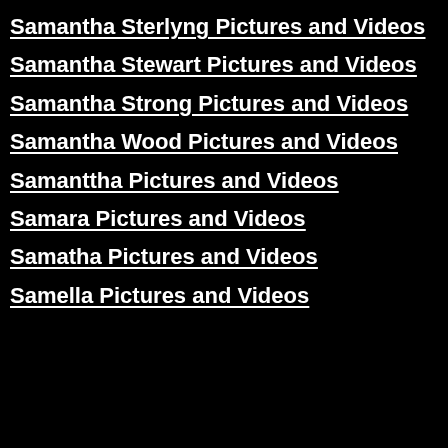Samantha Sterlyng Pictures and Videos
Samantha Stewart Pictures and Videos
Samantha Strong Pictures and Videos
Samantha Wood Pictures and Videos
Samanttha Pictures and Videos
Samara Pictures and Videos
Samatha Pictures and Videos
Samella Pictures and Videos